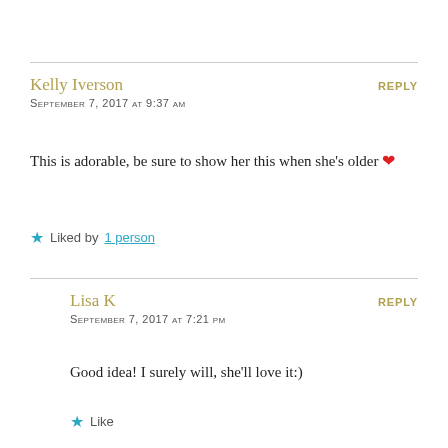Kelly Iverson
September 7, 2017 at 9:37 am
REPLY
This is adorable, be sure to show her this when she's older ❤
★ Liked by 1 person
Lisa K
September 7, 2017 at 7:21 pm
REPLY
Good idea! I surely will, she'll love it:)
★ Like